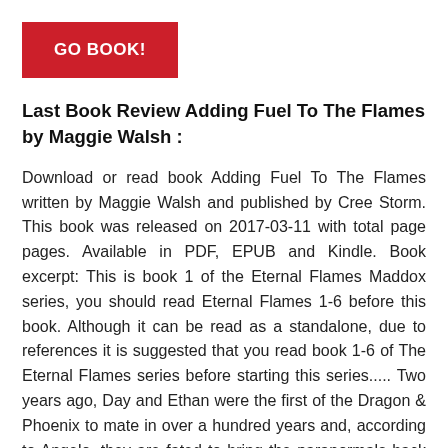[Figure (other): Red button labeled GO BOOK!]
Last Book Review Adding Fuel To The Flames by Maggie Walsh :
Download or read book Adding Fuel To The Flames written by Maggie Walsh and published by Cree Storm. This book was released on 2017-03-11 with total page pages. Available in PDF, EPUB and Kindle. Book excerpt: This is book 1 of the Eternal Flames Maddox series, you should read Eternal Flames 1-6 before this book. Although it can be read as a standalone, due to references it is suggested that you read book 1-6 of The Eternal Flames series before starting this series..... Two years ago, Day and Ethan were the first of the Dragon & Phoenix to mate in over a hundred years and, according to Angelo, they are fated to bring the paranormals back together. Rhys has spent years seeking his mates by kissing every man he can. Until one day he